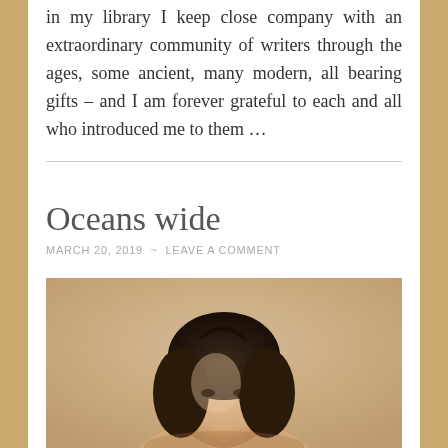in my library I keep close company with an extraordinary community of writers through the ages, some ancient, many modern, all bearing gifts – and I am forever grateful to each and all who introduced me to them …
Oceans wide
MARCH 20, 2019  ~  LEAVE A COMMENT
[Figure (photo): Portrait photo of a person with dark hair against a blurred beige/tan background, cropped to show top of head and face partially]